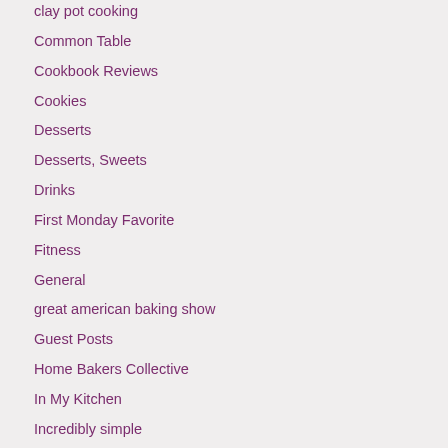clay pot cooking
Common Table
Cookbook Reviews
Cookies
Desserts
Desserts, Sweets
Drinks
First Monday Favorite
Fitness
General
great american baking show
Guest Posts
Home Bakers Collective
In My Kitchen
Incredibly simple
Joy Cookie Club